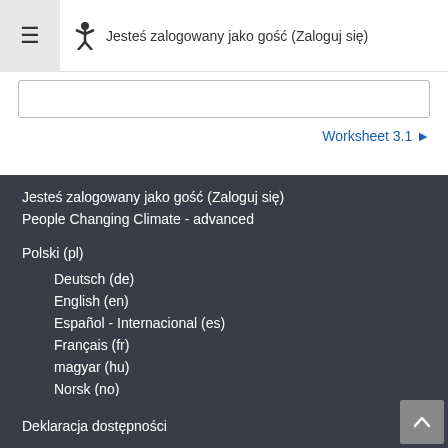Jesteś zalogowany jako gość (Zaloguj się)
Worksheet 3.1 ▶
Jesteś zalogowany jako gość (Zaloguj się)
People Changing Climate - advanced
Polski (pl)
Deutsch (de)
English (en)
Español - Internacional (es)
Français (fr)
magyar (hu)
Norsk (no)
Polski (pl)
Українська (uk)
Deklaracja dostępności